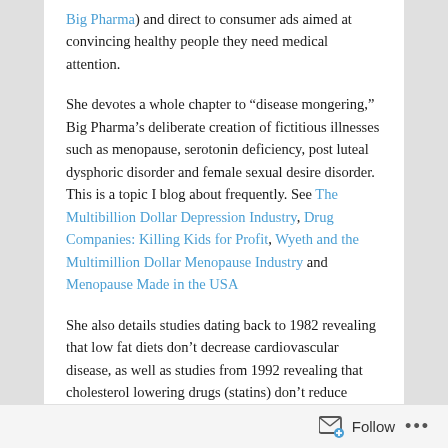Big Pharma) and direct to consumer ads aimed at convincing healthy people they need medical attention.
She devotes a whole chapter to “disease mongering,” Big Pharma’s deliberate creation of fictitious illnesses such as menopause, serotonin deficiency, post luteal dysphoric disorder and female sexual desire disorder. This is a topic I blog about frequently. See The Multibillion Dollar Depression Industry, Drug Companies: Killing Kids for Profit, Wyeth and the Multimillion Dollar Menopause Industry and Menopause Made in the USA
She also details studies dating back to 1982 revealing that low fat diets don’t decrease cardiovascular disease, as well as studies from 1992 revealing that cholesterol lowering drugs (statins) don’t reduce mortality. Thanks to the deliberate harassment and demonization of the researchers responsible for these studies, this information has only come into public view in the last two years. See Why the Low Fat Diet Makes You Fat (and Gives You
Follow